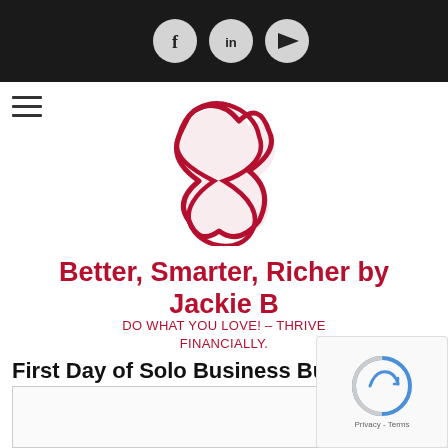[Figure (other): Dark top navigation bar with social media icons: Facebook (f), LinkedIn (in), YouTube (play button), displayed as grey circles on black background]
[Figure (logo): Red scripted logo mark resembling a stylized letter X or monogram for Better Smarter Richer by Jackie B]
Better, Smarter, Richer by Jackie B
DO WHAT YOU LOVE! — THRIVE FINANCIALLY.
First Day of Solo Business Builders 10-Week Course
January 14, 2015